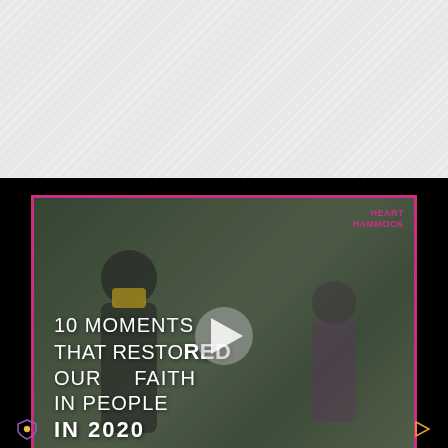[Figure (screenshot): Video thumbnail/player showing a child wearing a yellow mask looking out a window. White text overlay reads '10 MOMENTS THAT RESTORED OUR FAITH IN PEOPLE IN 2020'. Pink/magenta border around the video. A play button is centered. Small logo 'HEART HAMMOCK' visible in top right corner of video.]